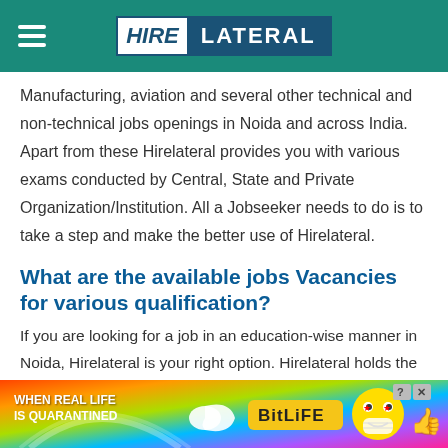HIRE LATERAL
Manufacturing, aviation and several other technical and non-technical jobs openings in Noida and across India. Apart from these Hirelateral provides you with various exams conducted by Central, State and Private Organization/Institution. All a Jobseeker needs to do is to take a step and make the better use of Hirelateral.
What are the available jobs Vacancies for various qualification?
If you are looking for a job in an education-wise manner in Noida, Hirelateral is your right option. Hirelateral holds the list of top jobs for all Engineering
[Figure (other): Advertisement banner for BitLife game: 'When Real Life Is Quarantined' with colorful rainbow background and mascot characters]